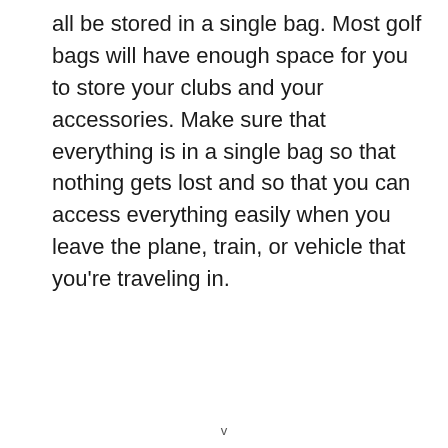all be stored in a single bag. Most golf bags will have enough space for you to store your clubs and your accessories. Make sure that everything is in a single bag so that nothing gets lost and so that you can access everything easily when you leave the plane, train, or vehicle that you're traveling in.
v